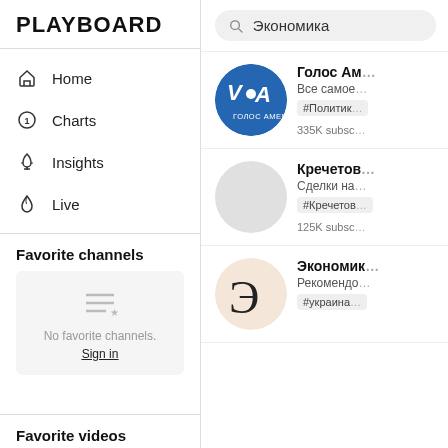PLAYBOARD
Home
Charts
Insights
Live
Favorite channels
No favorite channels.
Sign in
Favorite videos
Экономика
Голос Ам...
Все самое...
#Политик...
335K subsc...
Кречетов...
Сделки на...
#Кречетов...
125K subsc...
Экономик...
Рекомендо...
#украина...